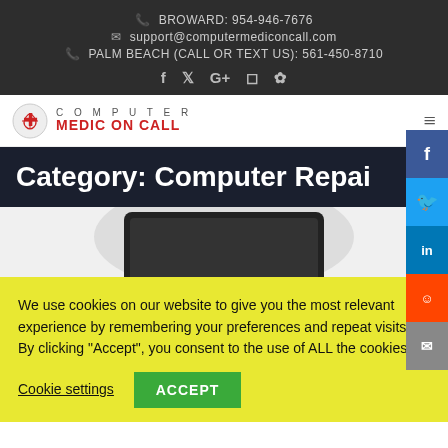BROWARD: 954-946-7676
support@computermediconcall.com
PALM BEACH (CALL OR TEXT US): 561-450-8710
[Figure (logo): Computer Medic On Call logo with red caduceus icon and text COMPUTER MEDIC ON CALL]
Category: Computer Repair
[Figure (photo): Partial view of a laptop computer screen from above on a grey background]
We use cookies on our website to give you the most relevant experience by remembering your preferences and repeat visits. By clicking “Accept”, you consent to the use of ALL the cookies.
Cookie settings
ACCEPT